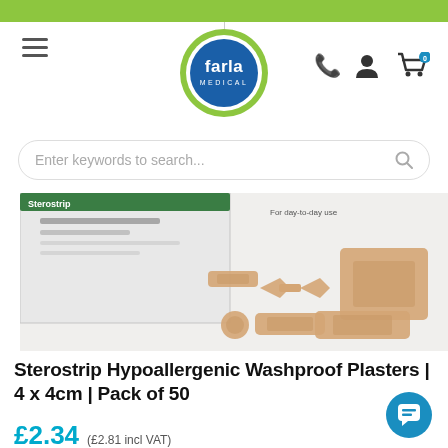[Figure (logo): Farla Medical logo — green circle border with blue circle inside containing white text 'farla MEDICAL']
Enter keywords to search...
[Figure (photo): Product photo showing Sterostrip hypoallergenic washproof plasters box with assorted plasters laid out on white surface]
Sterostrip Hypoallergenic Washproof Plasters | 4 x 4cm | Pack of 50
£2.34 (£2.81 incl VAT)